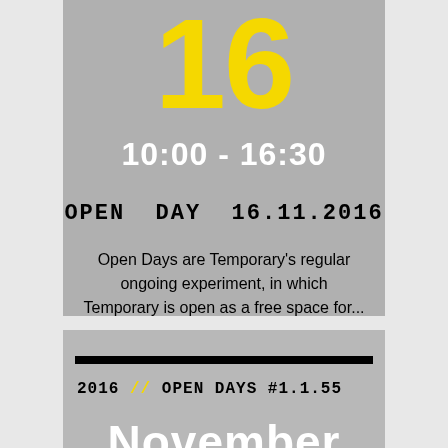10
10:00 - 16:30
OPEN DAY 16.11.2016
Open Days are Temporary's regular ongoing experiment, in which Temporary is open as a free space for...
4 people participated
20 ₮ earned
2016 // OPEN DAYS #1.1.55
November
17